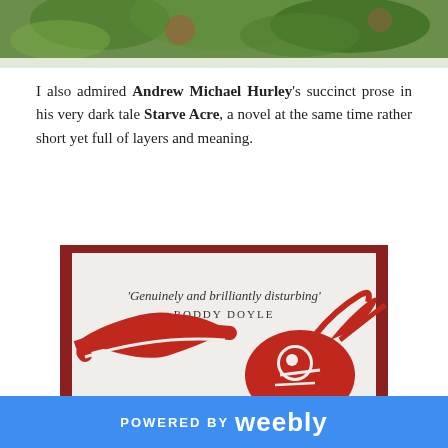[Figure (photo): Top portion of a photo showing green leaves and a floral background, cropped at the bottom]
I also admired Andrew Michael Hurley's succinct prose in his very dark tale Starve Acre, a novel at the same time rather short yet full of layers and meaning.
[Figure (photo): Photo of a book cover for Starve Acre by Andrew Michael Hurley, showing a red woodcut-style illustration of a hare on a light background, with a quote 'Genuinely and brilliantly disturbing' RODDY DOYLE]
POWERED BY weebly